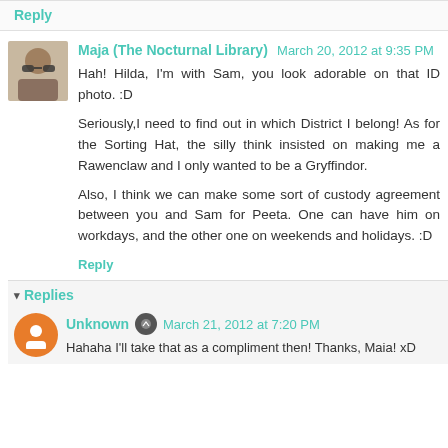Reply
Maja (The Nocturnal Library)  March 20, 2012 at 9:35 PM
Hah! Hilda, I'm with Sam, you look adorable on that ID photo. :D
Seriously,I need to find out in which District I belong! As for the Sorting Hat, the silly think insisted on making me a Rawenclaw and I only wanted to be a Gryffindor.

Also, I think we can make some sort of custody agreement between you and Sam for Peeta. One can have him on workdays, and the other one on weekends and holidays. :D
Reply
▾  Replies
Unknown  March 21, 2012 at 7:20 PM
Hahaha I'll take that as a compliment then! Thanks, Maia! xD